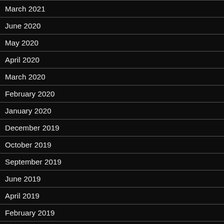March 2021
June 2020
May 2020
April 2020
March 2020
February 2020
January 2020
December 2019
October 2019
September 2019
June 2019
April 2019
February 2019